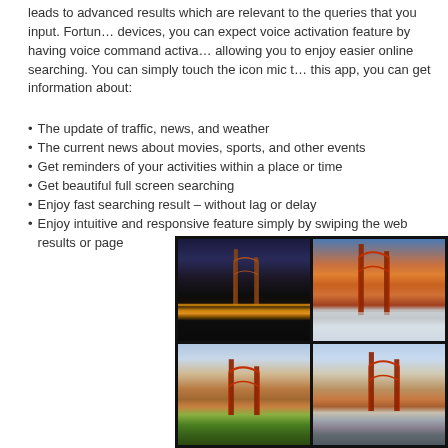leads to advanced results which are relevant to the queries that you input. Fortunately, with these devices, you can expect voice activation feature by having voice command activated on your phone, allowing you to enjoy easier online searching. You can simply touch the icon mic to get started. With this app, you can get information about:
The update of traffic, news, and weather
The current news about movies, sports, and other events
Get reminders of your activities within a place or time
Get beautiful full screen searching
Enjoy fast searching result – without lag or delay
Enjoy intuitive and responsive feature simply by swiping the web results or page
[Figure (photo): A 2x2 grid of photos showing the Golden Gate Bridge from various angles and times of day: night view with city lights, sunset view with fog, view from green hills, and view from rocky shore.]